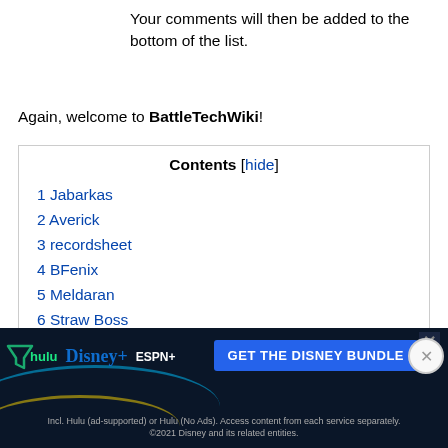Your comments will then be added to the bottom of the list.
Again, welcome to BattleTechWiki!
Contents [hide]
1 Jabarkas
2 Averick
3 recordsheet
4 BFenix
5 Meldaran
6 Straw Boss
7 BLOODWOLF
8 Thunder Fox
9 cnin
10 Ka...
11 Pi...
12 doctormonkey
[Figure (other): Disney Bundle advertisement banner with Hulu, Disney+, ESPN+ logos and GET THE DISNEY BUNDLE CTA]